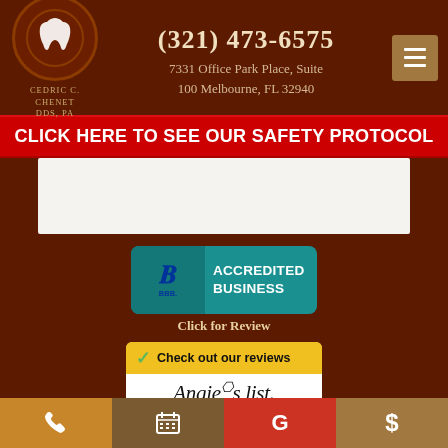[Figure (logo): Cedric C. Chenet DDS PA dental practice logo with circular tooth icon and text]
(321) 473-6575
7331 Office Park Place, Suite 100 Melbourne, FL 32940
[Figure (other): Hamburger menu button]
CLICK HERE TO SEE OUR SAFETY PROTOCOL
[Figure (logo): BBB Accredited Business badge - Click for Review]
Click for Review
[Figure (logo): Angie's List - Check out our reviews badge]
[Figure (logo): CareCredit logo]
Phone | Calendar | Google | Dollar sign navigation bar